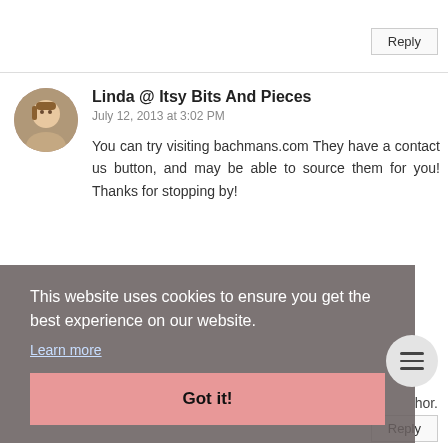Reply
Linda @ Itsy Bits And Pieces
July 12, 2013 at 3:02 PM
You can try visiting bachmans.com They have a contact us button, and may be able to source them for you! Thanks for stopping by!
This website uses cookies to ensure you get the best experience on our website.
Learn more
Got it!
Reply